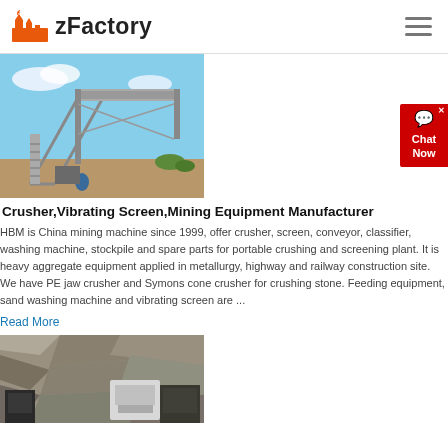zFactory
[Figure (photo): Industrial mining/crushing conveyor belt equipment installation with steel frame structure against blue sky background]
Crusher,Vibrating Screen,Mining Equipment Manufacturer
HBM is China mining machine since 1999, offer crusher, screen, conveyor, classifier, washing machine, stockpile and spare parts for portable crushing and screening plant. It is heavy aggregate equipment applied in metallurgy, highway and railway construction site. We have PE jaw crusher and Symons cone crusher for crushing stone. Feeding equipment, sand washing machine and vibrating screen are ...
Read More
[Figure (photo): Quarry/mining site with rock face and crushing equipment machinery]